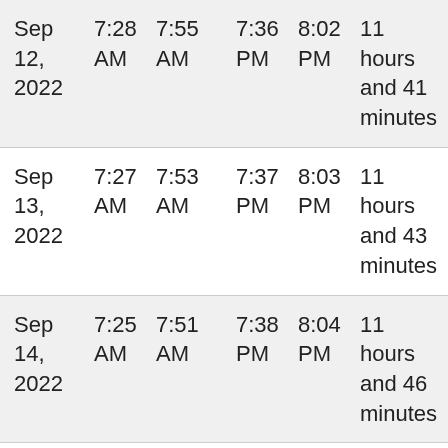| Sep 12, 2022 | 7:28 AM | 7:55 AM | 7:36 PM | 8:02 PM | 11 hours and 41 minutes |
| Sep 13, 2022 | 7:27 AM | 7:53 AM | 7:37 PM | 8:03 PM | 11 hours and 43 minutes |
| Sep 14, 2022 | 7:25 AM | 7:51 AM | 7:38 PM | 8:04 PM | 11 hours and 46 minutes |
| Sep 15, 2022 | 7:24 AM | 7:50 AM | 7:39 PM | 8:05 PM | 11 hours and 48 minutes |
| Sep 16, | 7:22 AM | 7:48 AM | 7:40 PM | 8:06 PM | 11 hours and 51 |